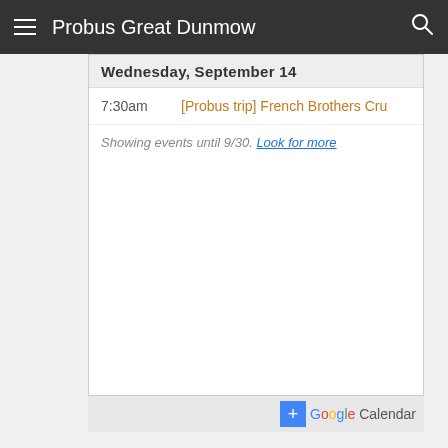Probus Great Dunmow
Wednesday, September 14
7:30am   [Probus trip] French Brothers Cru
Showing events until 9/30. Look for more
[Figure (screenshot): Google Calendar add button with Google logo and 'Calendar' label]